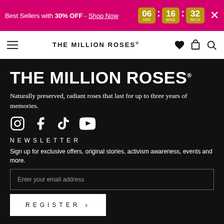Best Sellers with 30% OFF - Shop Now  06 HRS : 16 MINS : 32 SECS ×
[Figure (logo): The Million Roses brand logo in navbar]
THE MILLION ROSES®
Naturally preserved, radiant roses that last for up to three years of memories.
[Figure (infographic): Social media icons: Instagram, Facebook, TikTok, YouTube]
NEWSLETTER
Sign up for exclusive offers, original stories, activism awareness, events and more.
Enter your email address
REGISTER >